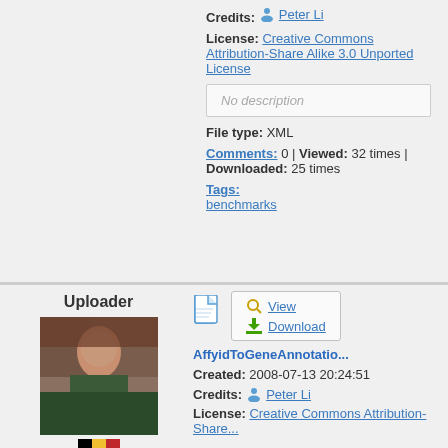Credits: Peter Li
License: Creative Commons Attribution-Share Alike 3.0 Unported License
No description
File type: XML
Comments: 0 | Viewed: 32 times | Downloaded: 25 times
Tags: benchmarks
Uploader
[Figure (photo): Profile photo of Antoon Goderis]
Antoon Goderis
AffyidToGeneAnnotatio...
Created: 2008-07-13 20:24:51
Credits: Peter Li
License: Creative Commons Attribution-Share...